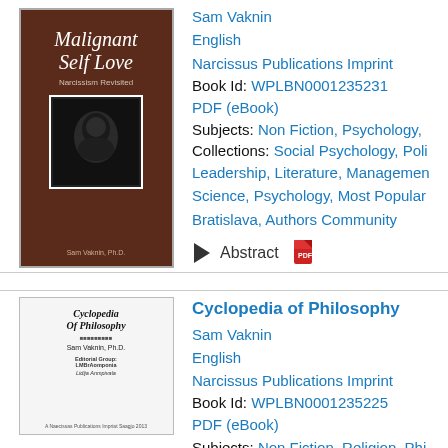[Figure (illustration): Book cover of 'Malignant Self Love - Narcissism Revisited' by Sam Vaknin Ph.D. Dark brown cover with italic title and a framed image.]
Sam Vaknin
English
Narcissus Publications Imprint
Book Id: WPLBN0001235231
PDF (eBook)
Subjects: Non Fiction, Psychology,
Collections: Social Psychology, Poli Leadership, Literature, Managemen Science, Psychology, Most Popular Bratislava, Authors Community
Abstract
[Figure (illustration): Book cover of 'Cyclopedia of Philosophy' by Sam Vaknin Ph.D. Light gray/white cover with italic title text.]
Cyclopedia of Philosophy
Sam Vaknin
English
Narcissus Publications Imprint
Book Id: WPLBN0001235225
PDF (eBook)
Subjects: Non Fiction, Religion, Phi Collections: Economics, Literature,